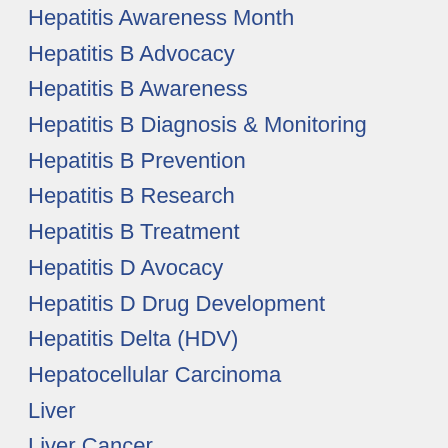Hepatitis Awareness Month
Hepatitis B Advocacy
Hepatitis B Awareness
Hepatitis B Diagnosis & Monitoring
Hepatitis B Prevention
Hepatitis B Research
Hepatitis B Treatment
Hepatitis D Avocacy
Hepatitis D Drug Development
Hepatitis Delta (HDV)
Hepatocellular Carcinoma
Liver
Liver Cancer
Liver Health
Living with Hepatitis B
News
Relationships
Research
Uncategorized